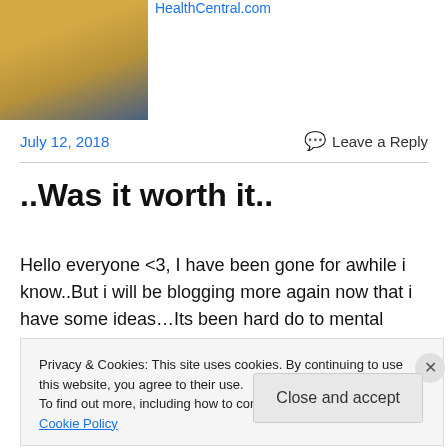[Figure (photo): Person in yellow sweater holding a mug, seated on a couch]
HealthCentral.com
July 12, 2018
Leave a Reply
..Was it worth it..
Hello everyone <3, I have been gone for awhile i know..But i will be blogging more again now that i have some ideas…Its been hard do to mental health but dont worry i got this!Some of the items are from events and are
Privacy & Cookies: This site uses cookies. By continuing to use this website, you agree to their use.
To find out more, including how to control cookies, see here: Cookie Policy
Close and accept